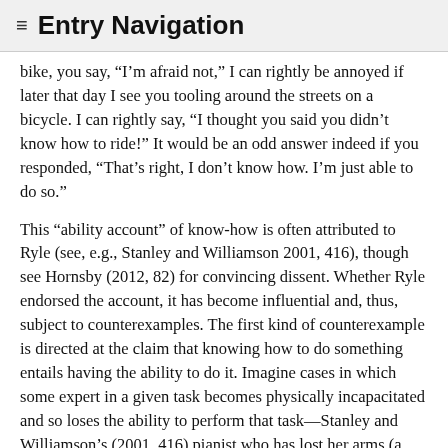≡ Entry Navigation
bike, you say, “I’m afraid not,” I can rightly be annoyed if later that day I see you tooling around the streets on a bicycle. I can rightly say, “I thought you said you didn’t know how to ride!” It would be an odd answer indeed if you responded, “That’s right, I don’t know how. I’m just able to do so.”
This “ability account” of know-how is often attributed to Ryle (see, e.g., Stanley and Williamson 2001, 416), though see Hornsby (2012, 82) for convincing dissent. Whether Ryle endorsed the account, it has become influential and, thus, subject to counterexamples. The first kind of counterexample is directed at the claim that knowing how to do something entails having the ability to do it. Imagine cases in which some expert in a given task becomes physically incapacitated and so loses the ability to perform that task—Stanley and Williamson’s (2001, 416) pianist who has lost her arms (a malady that also afflicts Paul Snowdon’s (2003, 8) expert omelette maker) or Carl Ginet’s (1975, 8) violinist with damaged fingers.